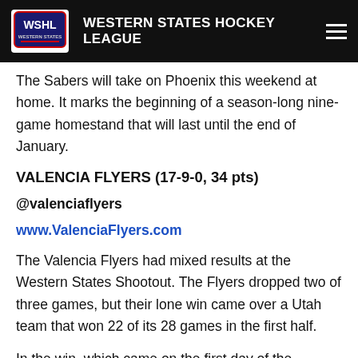WESTERN STATES HOCKEY LEAGUE
The Sabers will take on Phoenix this weekend at home. It marks the beginning of a season-long nine-game homestand that will last until the end of January.
VALENCIA FLYERS (17-9-0, 34 pts)
@valenciaflyers
www.ValenciaFlyers.com
The Valencia Flyers had mixed results at the Western States Shootout. The Flyers dropped two of three games, but their lone win came over a Utah team that won 22 of its 28 games in the first half.
In the win, which came on the first day of the tournament, former